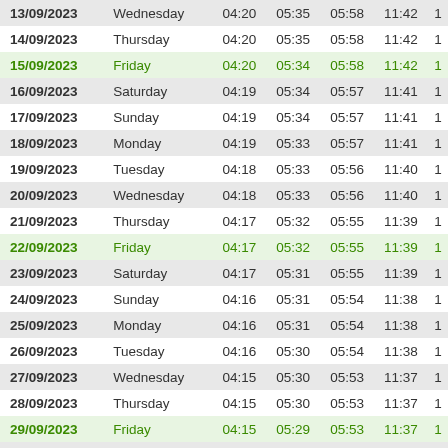| Date | Day | Col3 | Col4 | Col5 | Col6 | Col7 |
| --- | --- | --- | --- | --- | --- | --- |
| 13/09/2023 | Wednesday | 04:20 | 05:35 | 05:58 | 11:42 | 1 |
| 14/09/2023 | Thursday | 04:20 | 05:35 | 05:58 | 11:42 | 1 |
| 15/09/2023 | Friday | 04:20 | 05:34 | 05:58 | 11:42 | 1 |
| 16/09/2023 | Saturday | 04:19 | 05:34 | 05:57 | 11:41 | 1 |
| 17/09/2023 | Sunday | 04:19 | 05:34 | 05:57 | 11:41 | 1 |
| 18/09/2023 | Monday | 04:19 | 05:33 | 05:57 | 11:41 | 1 |
| 19/09/2023 | Tuesday | 04:18 | 05:33 | 05:56 | 11:40 | 1 |
| 20/09/2023 | Wednesday | 04:18 | 05:33 | 05:56 | 11:40 | 1 |
| 21/09/2023 | Thursday | 04:17 | 05:32 | 05:55 | 11:39 | 1 |
| 22/09/2023 | Friday | 04:17 | 05:32 | 05:55 | 11:39 | 1 |
| 23/09/2023 | Saturday | 04:17 | 05:31 | 05:55 | 11:39 | 1 |
| 24/09/2023 | Sunday | 04:16 | 05:31 | 05:54 | 11:38 | 1 |
| 25/09/2023 | Monday | 04:16 | 05:31 | 05:54 | 11:38 | 1 |
| 26/09/2023 | Tuesday | 04:16 | 05:30 | 05:54 | 11:38 | 1 |
| 27/09/2023 | Wednesday | 04:15 | 05:30 | 05:53 | 11:37 | 1 |
| 28/09/2023 | Thursday | 04:15 | 05:30 | 05:53 | 11:37 | 1 |
| 29/09/2023 | Friday | 04:15 | 05:29 | 05:53 | 11:37 | 1 |
| 30/09/2023 | Saturday | 04:14 | 05:29 | 05:52 | 11:36 | 1 |